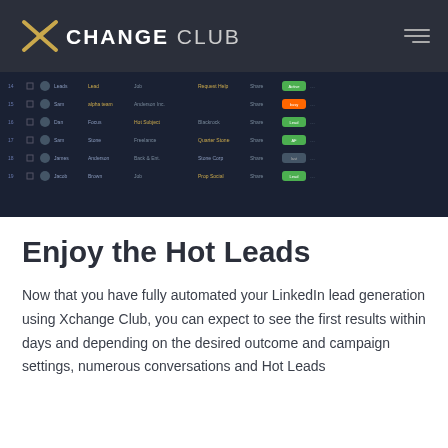XCHANGE CLUB
[Figure (screenshot): Screenshot of a dark-themed leads management dashboard table showing rows of leads with columns for name, email, company, status, and action buttons. Some entries have green or orange status badges.]
Enjoy the Hot Leads
Now that you have fully automated your LinkedIn lead generation using Xchange Club, you can expect to see the first results within days and depending on the desired outcome and campaign settings, numerous conversations and Hot Leads